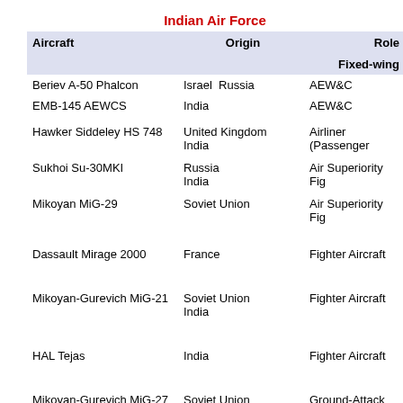| Aircraft | Origin | Role |
| --- | --- | --- |
| Beriev A-50 Phalcon | Israel  Russia | AEW&C |
| EMB-145 AEWCS | India | AEW&C |
| Hawker Siddeley HS 748 | United Kingdom
India | Airliner (Passenger) |
| Sukhoi Su-30MKI | Russia
India | Air Superiority Fighter |
| Mikoyan MiG-29 | Soviet Union | Air Superiority Fighter |
| Dassault Mirage 2000 | France | Fighter Aircraft |
| Mikoyan-Gurevich MiG-21 | Soviet Union
India | Fighter Aircraft |
| HAL Tejas | India | Fighter Aircraft |
| Mikoyan-Gurevich MiG-27 Bahadur | Soviet Union | Ground-Attack Aircraft |